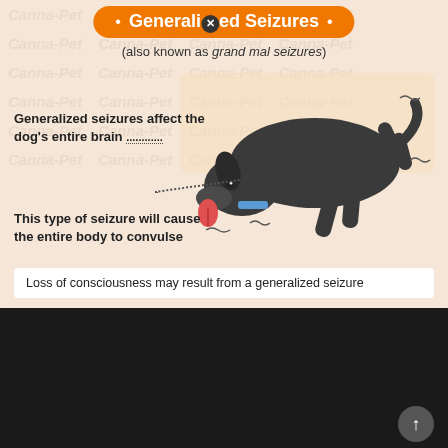Generalized Seizures
(also known as grand mal seizures)
[Figure (illustration): Illustration of a black dog lying on its side with legs extended, showing seizure posture. The dog has a blue collar and its tongue is out. Wavy lines around the dog indicate trembling/convulsing. A dotted line points from the dog's head toward the text about the brain.]
Generalized seizures affect the dog's entire brain
This type of seizure will cause the entire body to convulse
Loss of consciousness may result from a generalized seizure
Source: ustrendi.blogspot.com
The aspca says that caffeine, dark chocolate, mushrooms, ethanol, and xylitol, along with caffeine and cocoa, can tant chocolate, mushrooms, theobromine, ethanol, and xylitol can cause your dog's seizures. While a raw food diet may not eliminate all seizures, or the need for epilepsy medications, it may